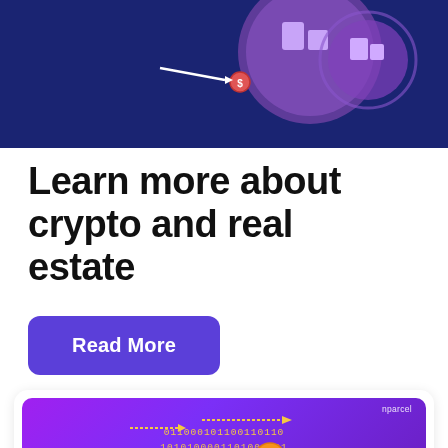[Figure (illustration): Top banner with dark navy blue background showing a crypto/real estate illustration with purple circle containing building/property icons and an arrow, on dark blue background.]
Learn more about crypto and real estate
Read More
[Figure (illustration): Card with purple gradient background showing binary code (011000101100110110, 101010000110100 01, 10 101111 11, 01 001101100011), orange/yellow arrows pointing right, and two gold Bitcoin coin icons overlaid on the binary text. nparcel logo in top right corner.]